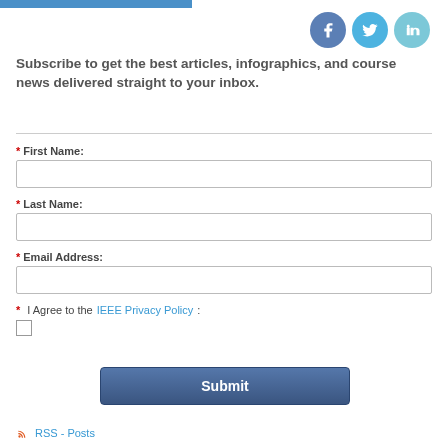[Figure (infographic): Blue button/bar at top left and social media icons (Facebook, Twitter, LinkedIn) at top right]
Subscribe to get the best articles, infographics, and course news delivered straight to your inbox.
* First Name:
* Last Name:
* Email Address:
* I Agree to the IEEE Privacy Policy :
Submit
RSS - Posts